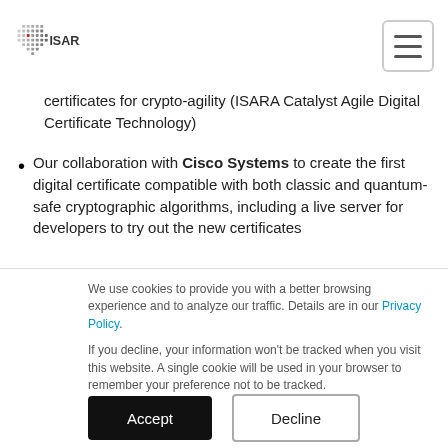ISARA
certificates for crypto-agility (ISARA Catalyst Agile Digital Certificate Technology)
Our collaboration with Cisco Systems to create the first digital certificate compatible with both classic and quantum-safe cryptographic algorithms, including a live server for developers to try out the new certificates
We use cookies to provide you with a better browsing experience and to analyze our traffic. Details are in our Privacy Policy.

If you decline, your information won't be tracked when you visit this website. A single cookie will be used in your browser to remember your preference not to be tracked.
Accept
Decline